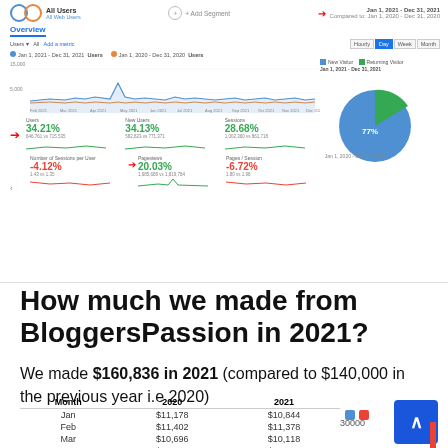[Figure (screenshot): Google Analytics screenshot showing Jan 1, 2021 - Dec 31, 2021 vs Jan 1, 2020 - Dec 31, 2020 data. Line chart for Users over time. Metrics shown: Users +34.21%, New Users +34.13%, Sessions +28.66%, Number of Sessions per User -4.12%, Pageviews +20.03%, Pages/Session -6.72%. Pie chart showing New Visitor vs Returning Visitor breakdown. Red arrows pointing to key metrics.]
How much we made from BloggersPassion in 2021?
We made $160,836 in 2021 (compared to $140,000 in the previous year i.e 2020)
| Month | 2020 | 2021 |
| --- | --- | --- |
| Jan | $11,178 | $10,844 |
| Feb | $11,402 | $11,378 |
| Mar | $10,696 | $10,118 |
| Apr | $10,803 | $10,208 |